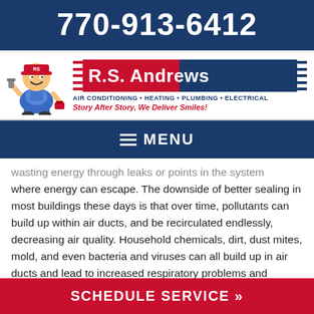770-913-6412
[Figure (logo): R.S. Andrews logo with mascot character (smiling plumber in overalls holding a wrench), red and blue badge logo with text 'R.S. Andrews', services line 'AIR CONDITIONING • HEATING • PLUMBING • ELECTRICAL', tagline 'Story After Story, We Deliver Smiles!']
MENU
wasting energy through leaks or points in the system where energy can escape. The downside of better sealing in most buildings these days is that over time, pollutants can build up within air ducts, and be recirculated endlessly, decreasing air quality. Household chemicals, dirt, dust mites, mold, and even bacteria and viruses can all build up in air ducts and lead to increased respiratory problems and aggravation of existing
SCHEDULE SERVICE »